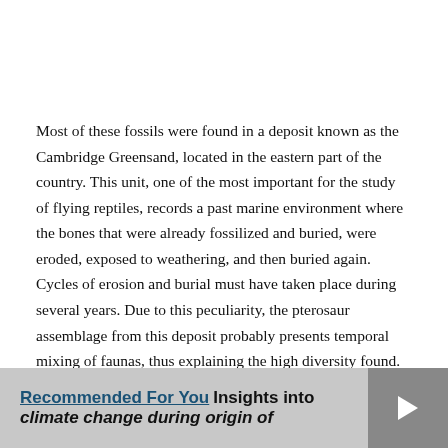Most of these fossils were found in a deposit known as the Cambridge Greensand, located in the eastern part of the country. This unit, one of the most important for the study of flying reptiles, records a past marine environment where the bones that were already fossilized and buried, were eroded, exposed to weathering, and then buried again. Cycles of erosion and burial must have taken place during several years. Due to this peculiarity, the pterosaur assemblage from this deposit probably presents temporal mixing of faunas, thus explaining the high diversity found.
Recommended For You  Insights into climate change during origin of